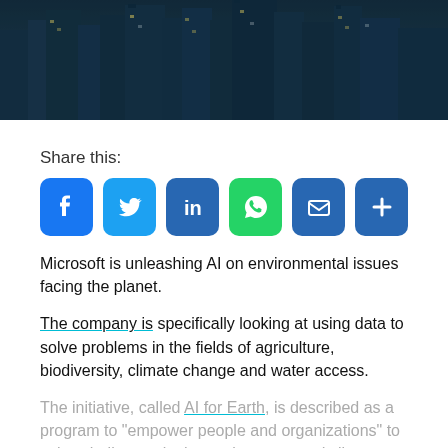[Figure (photo): Aerial view of a dense city skyline with skyscrapers and buildings at dusk/night, dark blue and teal tones.]
Share this:
[Figure (infographic): Row of social media sharing icons: Facebook, Twitter, LinkedIn, WhatsApp, Email, More (+)]
Microsoft is unleashing AI on environmental issues facing the planet.
The company is specifically looking at using data to solve problems in the fields of agriculture, biodiversity, climate change and water access.
The initiative, called AI for Earth, is described as a program to "empower people and organizations" to solve challenges in the environment and climate. Microsoft